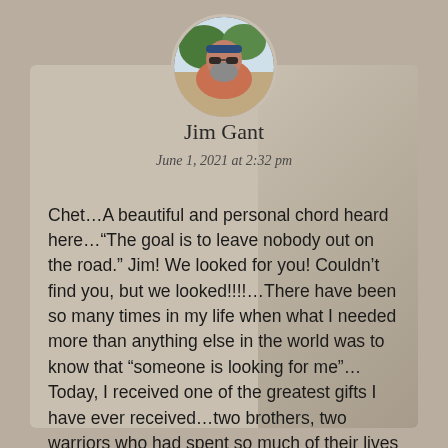[Figure (photo): Circular avatar photo of Jim Gant, a bearded man wearing sunglasses and a headband, outdoors]
Jim Gant
June 1, 2021 at 2:32 pm
Chet…A beautiful and personal chord heard here…“The goal is to leave nobody out on the road.” Jim! We looked for you! Couldn’t find you, but we looked!!!!…There have been so many times in my life when what I needed more than anything else in the world was to know that “someone is looking for me”…Today, I received one of the greatest gifts I have ever received…two brothers, two warriors who had spent so much of their lives within the grips of death…we…RECONNECTED…we went back, both of us, and because we were looking…we